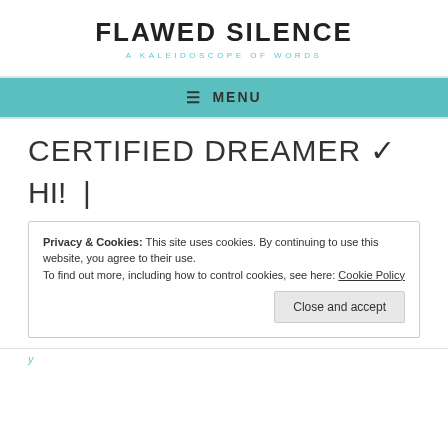FLAWED SILENCE
A KALEIDOSCOPE OF WORDS
≡  MENU
CERTIFIED DREAMER ✓
HI! |
Privacy & Cookies: This site uses cookies. By continuing to use this website, you agree to their use.
To find out more, including how to control cookies, see here: Cookie Policy
Close and accept